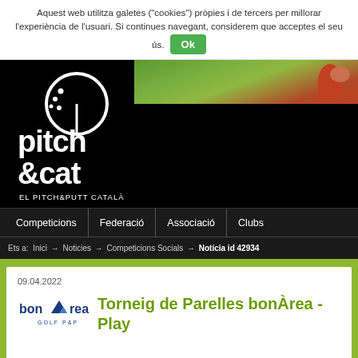Aquest web utilitza galetes ("cookies") pròpies i de tercers per millorar l'experiència de l'usuari. Si continues navegant, considerem que acceptes el seu ús. Ok
[Figure (logo): pitch&cat EL PITCH&PUTT CATALÀ logo on black background]
[Figure (photo): Golf course photo with green grass and player in red]
Competicions | Federació | Associació | Clubs
Ets a: Inici → Noticies → Competicions Socials → Notícia id 42934
09.04.2022
Torneig de Parelles bonÀrea - Play